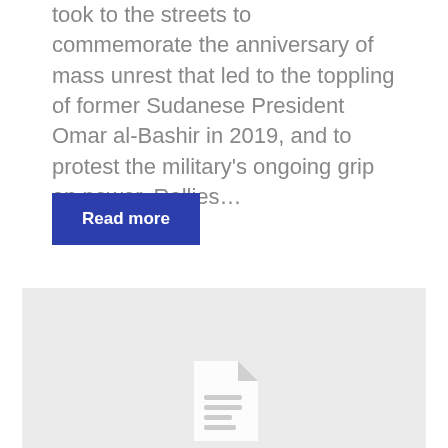took to the streets to commemorate the anniversary of mass unrest that led to the toppling of former Sudanese President Omar al-Bashir in 2019, and to protest the military's ongoing grip on power. Rallies…
Read more
[Figure (illustration): Document/article placeholder icon on a light grey background]
New York Times' Paul Krugman calls cryptocurrencies a 'scam'
Dave Gothemburg — June 7, 2022